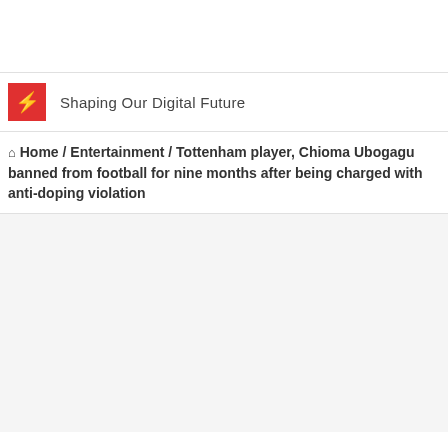Shaping Our Digital Future
Home / Entertainment / Tottenham player, Chioma Ubogagu banned from football for nine months after being charged with anti-doping violation
[Figure (other): Blank white/light grey article image placeholder area]